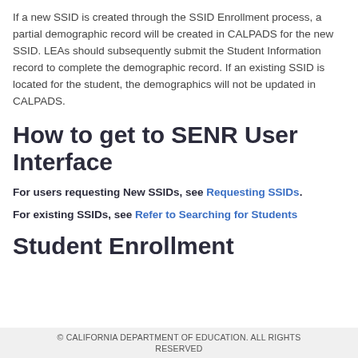If a new SSID is created through the SSID Enrollment process, a partial demographic record will be created in CALPADS for the new SSID. LEAs should subsequently submit the Student Information record to complete the demographic record. If an existing SSID is located for the student, the demographics will not be updated in CALPADS.
How to get to SENR User Interface
For users requesting New SSIDs, see Requesting SSIDs.
For existing SSIDs, see Refer to Searching for Students
Student Enrollment
© CALIFORNIA DEPARTMENT OF EDUCATION. ALL RIGHTS RESERVED